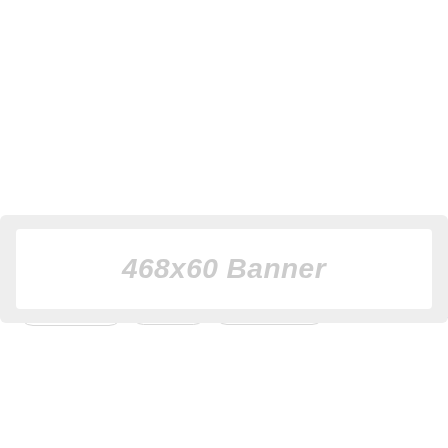Kategori  Belgeler  Yorum Yok  13.09.2018  3167
[Figure (other): 468x60 Banner placeholder advertisement area]